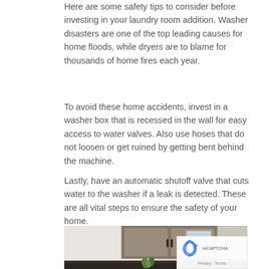Here are some safety tips to consider before investing in your laundry room addition. Washer disasters are one of the top leading causes for home floods, while dryers are to blame for thousands of home fires each year.
To avoid these home accidents, invest in a washer box that is recessed in the wall for easy access to water valves. Also use hoses that do not loosen or get ruined by getting bent behind the machine.
Lastly, have an automatic shutoff valve that cuts water to the washer if a leak is detected. These are all vital steps to ensure the safety of your home.
[Figure (photo): Photo of a laundry room showing wooden cabinets mounted on the wall, a window with blinds, dark countertop, and a small green plant.]